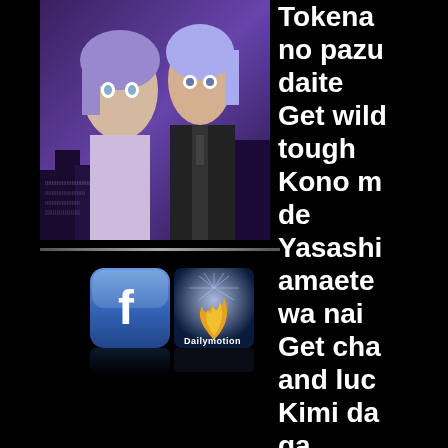[Figure (illustration): Anime-style illustration of two characters in front of a city skyline with purple/blue tones]
[Figure (logo): Facebook app icon logo (blue with white F)]
[Figure (logo): Dailymotion logo icon (dark blue with gold/yellow flame shape)]
Tokena no pazu daite Get wild tough Kono m de Yasashi amaete wa nai Get cha and luc Kimi da ga Mamore mono g da